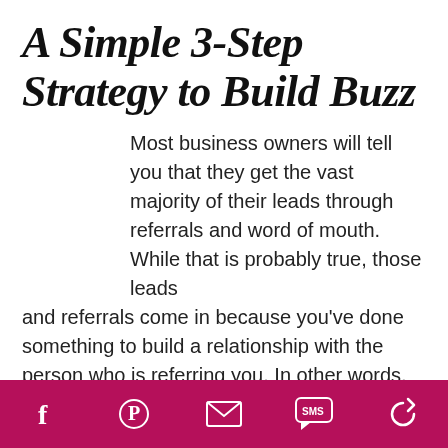A Simple 3-Step Strategy to Build Buzz
Most business owners will tell you that they get the vast majority of their leads through referrals and word of mouth. While that is probably true, those leads and referrals come in because you've done something to build a relationship with the person who is referring you. In other words, you've built your reputation and some buzz
Social share icons: Facebook, Pinterest, Email, SMS, Recycle/Share